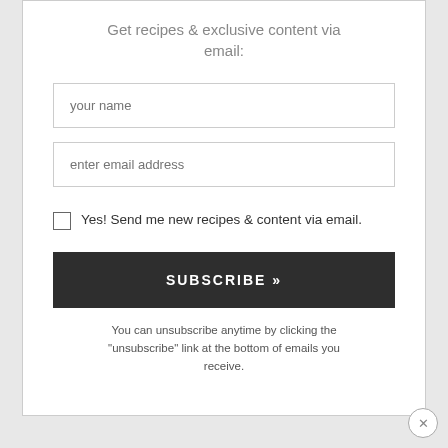Get recipes & exclusive content via email:
your name
enter email address
Yes! Send me new recipes & content via email.
SUBSCRIBE »
You can unsubscribe anytime by clicking the "unsubscribe" link at the bottom of emails you receive.